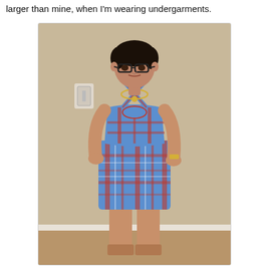larger than mine, when I'm wearing undergarments.
[Figure (photo): A woman with short dark hair and glasses wearing a blue, red, and white plaid strapless dress with criss-cross straps and a gold necklace, standing in a room with beige walls and light wood flooring.]